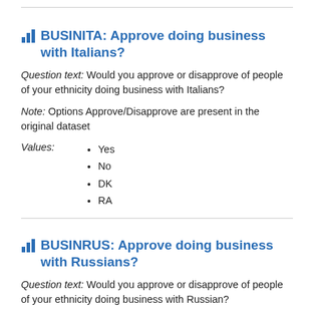BUSINITA: Approve doing business with Italians?
Question text: Would you approve or disapprove of people of your ethnicity doing business with Italians?
Note: Options Approve/Disapprove are present in the original dataset
Yes
No
DK
RA
BUSINRUS: Approve doing business with Russians?
Question text: Would you approve or disapprove of people of your ethnicity doing business with Russian?
Note: Options Approve/Disapprove are present in the original dataset
Yes